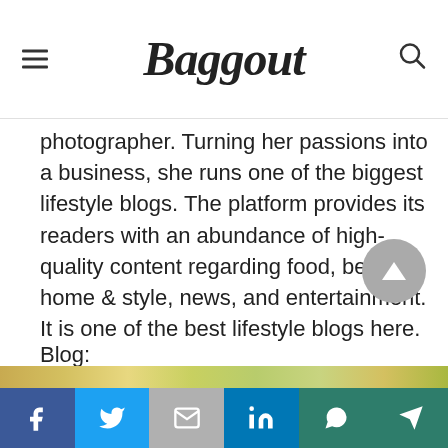Baggout
photographer. Turning her passions into a business, she runs one of the biggest lifestyle blogs. The platform provides its readers with an abundance of high-quality content regarding food, beauty, home & style, news, and entertainment. It is one of the best lifestyle blogs here.
Blog: https://www.thepioneerwoman.com/
LoveTaza
[Figure (photo): Blurred outdoor photo strip at the bottom of the content area]
Social share bar: Facebook, Twitter, Gmail, LinkedIn, WhatsApp, Telegram